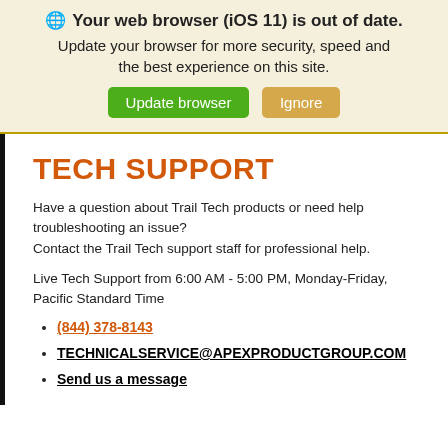[Figure (screenshot): Browser update notification banner with globe icon, bold title 'Your web browser (iOS 11) is out of date.', subtitle text, and two buttons: 'Update browser' (green) and 'Ignore' (tan/gold).]
TECH SUPPORT
Have a question about Trail Tech products or need help troubleshooting an issue?
Contact the Trail Tech support staff for professional help.
Live Tech Support from 6:00 AM - 5:00 PM, Monday-Friday, Pacific Standard Time
(844) 378-8143
TECHNICALSERVICE@APEXPRODUCTGROUP.COM
Send us a message